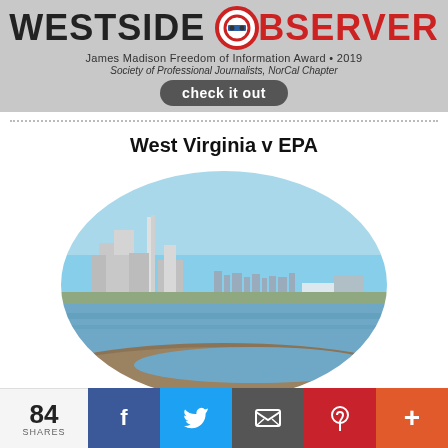WESTSIDE OBSERVER
James Madison Freedom of Information Award • 2019
Society of Professional Journalists, NorCal Chapter
Check it out
West Virginia v EPA
[Figure (photo): Aerial photo of an industrial facility with smokestacks near a bay or estuary with water in the foreground and a city skyline in the background, displayed in an oval crop]
84 SHARES | Facebook | Twitter | Email | Pinterest | More